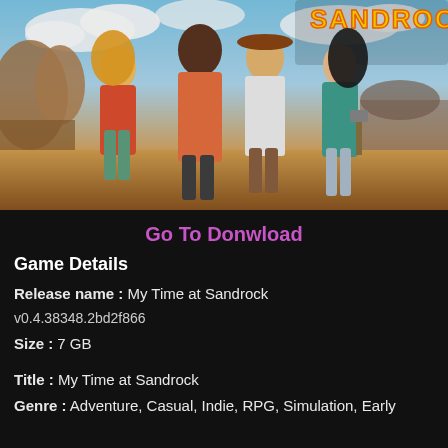[Figure (illustration): Promotional key art for 'My Time at Sandrock' game showing four anime-style characters (a blonde girl, a tall dark-skinned man, a boy in a cowboy hat, and a girl with dark hair holding a hammer) standing in a desert/canyon landscape with the game logo 'Sandrock' visible at the top right. Colorful sky with clouds in the background.]
Go To Donwload
Game Details
Release name : My Time at Sandrock
v0.4.38348.2bd2f866
Size : 7 GB
Title : My Time at Sandrock
Genre : Adventure, Casual, Indie, RPG, Simulation, Early